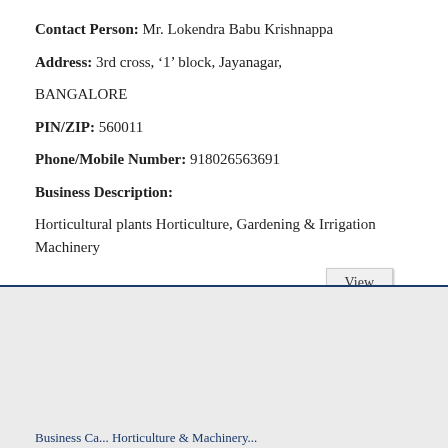Contact Person: Mr. Lokendra Babu Krishnappa
Address: 3rd cross, '1' block, Jayanagar,
BANGALORE
PIN/ZIP: 560011
Phone/Mobile Number: 918026563691
Business Description:
Horticultural plants Horticulture, Gardening & Irrigation Machinery
[Figure (other): Gray background section at the bottom of the page with a dark blue top border line, representing a new record/entry block below the current listing.]